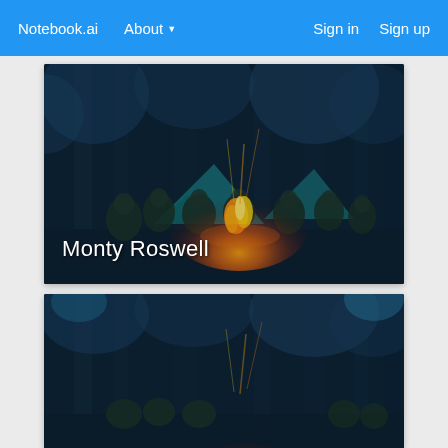Notebook.ai   About ▾   Sign in   Sign up
[Figure (photo): Group of people sitting around a campfire at night in a forest with tents visible in background. Text overlay reads 'Monty Roswell'.]
[Figure (photo): Second campfire scene, similar composition, partial view cropped at bottom of page.]